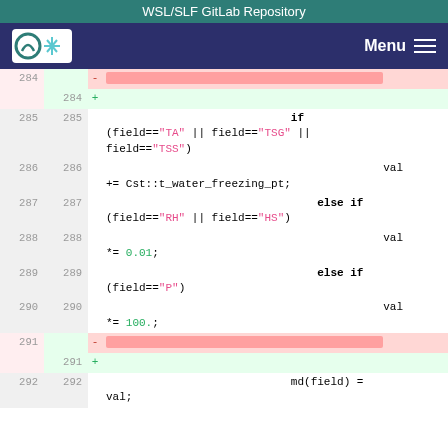WSL/SLF GitLab Repository
[Figure (screenshot): WSL/SLF logo and navigation menu bar]
Code diff view showing lines 284-292 with modifications to field comparison logic including if (field=="TA" || field=="TSG" || field=="TSS"), val += Cst::t_water_freezing_pt;, else if (field=="RH" || field=="HS"), val *= 0.01;, else if (field=="P"), val *= 100.;, md(field) = val;